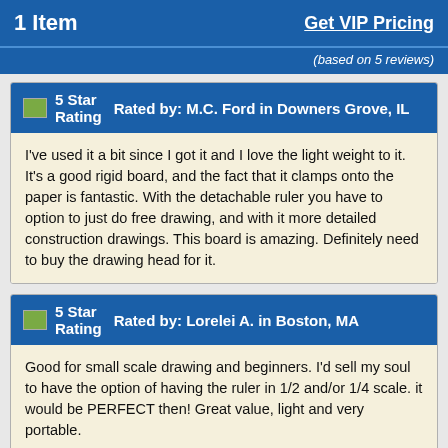1 Item    Get VIP Pricing
(based on 5 reviews)
5 Star Rating   Rated by: M.C. Ford in Downers Grove, IL
I've used it a bit since I got it and I love the light weight to it. It's a good rigid board, and the fact that it clamps onto the paper is fantastic. With the detachable ruler you have to option to just do free drawing, and with it more detailed construction drawings. This board is amazing. Definitely need to buy the drawing head for it.
5 Star Rating   Rated by: Lorelei A. in Boston, MA
Good for small scale drawing and beginners. I'd sell my soul to have the option of having the ruler in 1/2 and/or 1/4 scale. it would be PERFECT then! Great value, light and very portable.
Rated by: R. P. in Spokane, WA